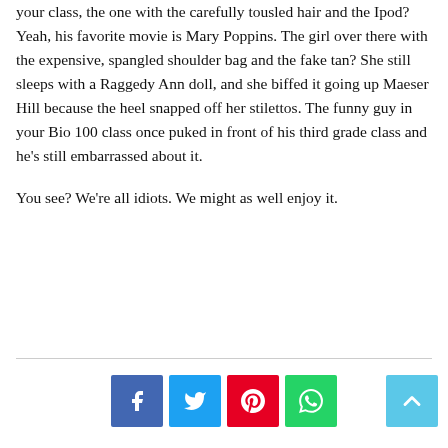your class, the one with the carefully tousled hair and the Ipod? Yeah, his favorite movie is Mary Poppins. The girl over there with the expensive, spangled shoulder bag and the fake tan? She still sleeps with a Raggedy Ann doll, and she biffed it going up Maeser Hill because the heel snapped off her stilettos. The funny guy in your Bio 100 class once puked in front of his third grade class and he's still embarrassed about it.

You see? We're all idiots. We might as well enjoy it.
[Figure (infographic): Social sharing buttons: Facebook (blue), Twitter (cyan), Pinterest (red), WhatsApp (green), and a back-to-top button (light blue with up arrow)]